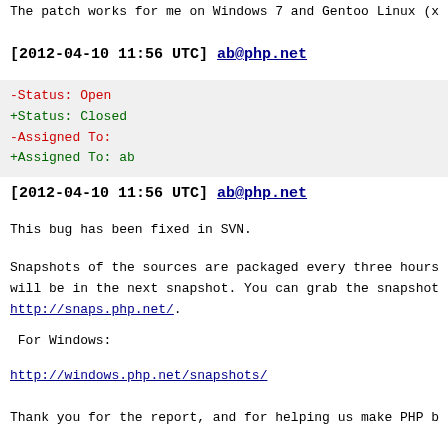The patch works for me on Windows 7 and Gentoo Linux (x...
[2012-04-10 11:56 UTC] ab@php.net
-Status: Open
+Status: Closed
-Assigned To:
+Assigned To: ab
[2012-04-10 11:56 UTC] ab@php.net
This bug has been fixed in SVN.
Snapshots of the sources are packaged every three hours will be in the next snapshot. You can grab the snapshot http://snaps.php.net/.
For Windows:
http://windows.php.net/snapshots/
Thank you for the report, and for helping us make PHP b...